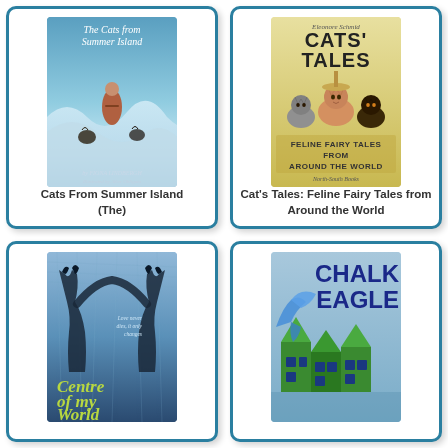[Figure (illustration): Book cover of 'The Cats from Summer Island' showing a person with cats in stormy ocean waves]
Cats From Summer Island (The)
[Figure (illustration): Book cover of 'Cat's Tales: Feline Fairy Tales from Around the World' showing illustrated cats, published by North-South Books, by Eleonore Schmid]
Cat's Tales: Feline Fairy Tales from Around the World
[Figure (illustration): Book cover of 'Centre of my World' showing silhouettes of cats on a blue background with tagline 'Love never dies, it only changes']
[Figure (illustration): Book cover of 'Chalk Eagle' showing geometric green and blue building shapes with an eagle, blue background]